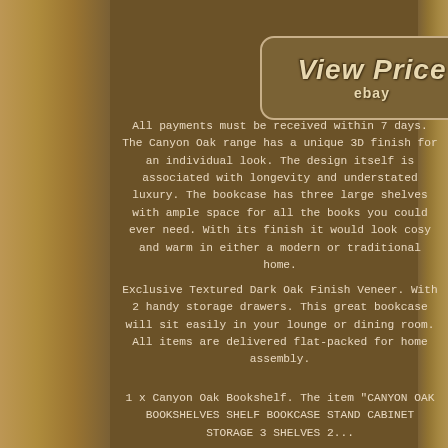[Figure (other): View Price button with eBay label on brown background with wood texture on sides]
All payments must be received within 7 days. The Canyon Oak range has a unique 3D finish for an individual look. The design itself is associated with longevity and understated luxury. The bookcase has three large shelves with ample space for all the books you could ever need. With its finish it would look cosy and warm in either a modern or traditional home.
Exclusive Textured Dark Oak Finish Veneer. With 2 handy storage drawers. This great bookcase will sit easily in your lounge or dining room. All items are delivered flat-packed for home assembly.
1 x Canyon Oak Bookshelf. The item "CANYON OAK BOOKSHELVES SHELF BOOKCASE STAND CABINET STORAGE 3 SHELVES 2...